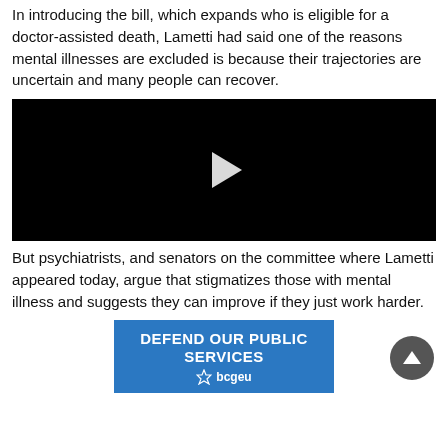In introducing the bill, which expands who is eligible for a doctor-assisted death, Lametti had said one of the reasons mental illnesses are excluded is because their trajectories are uncertain and many people can recover.
[Figure (screenshot): Black video player with white play button triangle in center]
But psychiatrists, and senators on the committee where Lametti appeared today, argue that stigmatizes those with mental illness and suggests they can improve if they just work harder.
[Figure (illustration): Blue advertisement banner reading DEFEND OUR PUBLIC SERVICES with bcgeu logo]